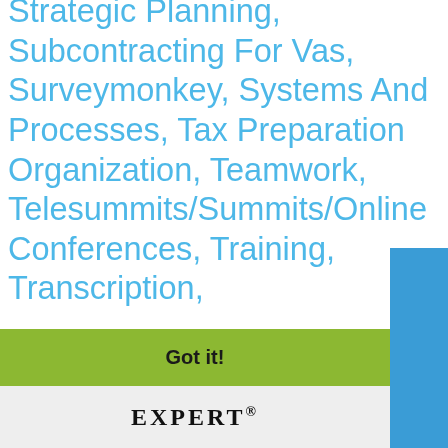Strategic Planning, Subcontracting For Vas, Surveymonkey, Systems And Processes, Tax Preparation Organization, Teamwork, Telesummits/Summits/Online Conferences, Training, Transcription,
ng, n, on,
This website uses cookies to ensure you get the best experience on our website. Learn more
Got it!
EXPERT®